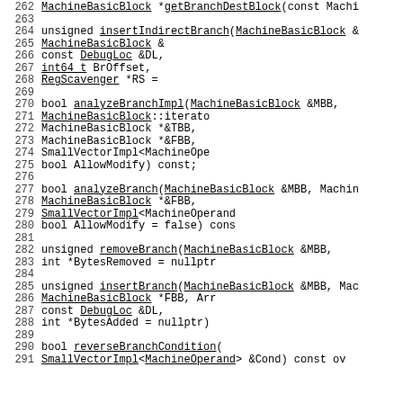262   MachineBasicBlock *getBranchDestBlock(const Machi
263
264   unsigned insertIndirectBranch(MachineBasicBlock &
265                                           MachineBasicBlock &
266                                           const DebugLoc &DL,
267                                           int64_t BrOffset,
268                                           RegScavenger *RS =
269
270   bool analyzeBranchImpl(MachineBasicBlock &MBB,
271                                           MachineBasicBlock::iterato
272                                           MachineBasicBlock *&TBB,
273                                           MachineBasicBlock *&FBB,
274                                           SmallVectorImpl<MachineOpe
275                                           bool AllowModify) const;
276
277   bool analyzeBranch(MachineBasicBlock &MBB, Machin
278                                   MachineBasicBlock *&FBB,
279                                   SmallVectorImpl<MachineOperand
280                                   bool AllowModify = false) cons
281
282   unsigned removeBranch(MachineBasicBlock &MBB,
283                                   int *BytesRemoved = nullptr
284
285   unsigned insertBranch(MachineBasicBlock &MBB, Mac
286                                   MachineBasicBlock *FBB, Arr
287                                   const DebugLoc &DL,
288                                   int *BytesAdded = nullptr)
289
290   bool reverseBranchCondition(
291             SmallVectorImpl<MachineOperand> &Cond) const ov